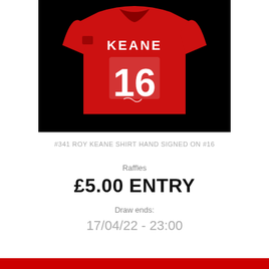[Figure (photo): Red Manchester United football shirt with number 16 and KEANE printed on the back, hand signed, displayed on black background]
#341 ROY KEANE SHIRT HAND SIGNED ON #16
Raffles
£5.00 ENTRY
Draw ends:
17/04/22 - 23:00